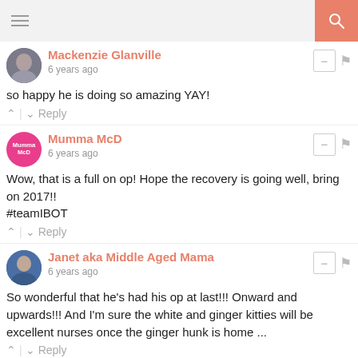navigation header with hamburger menu and search button
Mackenzie Glanville
6 years ago
so happy he is doing so amazing YAY!
Reply
Mumma McD
6 years ago
Wow, that is a full on op! Hope the recovery is going well, bring on 2017!!
#teamIBOT
Reply
Janet aka Middle Aged Mama
6 years ago
So wonderful that he's had his op at last!!! Onward and upwards!!! And I'm sure the white and ginger kitties will be excellent nurses once the ginger hunk is home ...
Reply